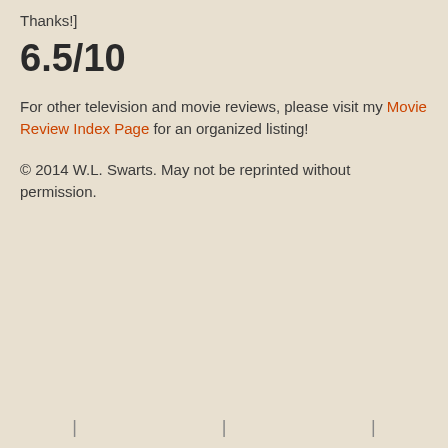Thanks!]
6.5/10
For other television and movie reviews, please visit my Movie Review Index Page for an organized listing!
© 2014 W.L. Swarts. May not be reprinted without permission.
| | |